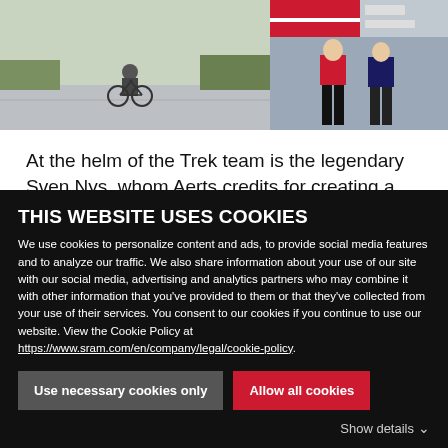[Figure (photo): Two photos side by side at top: left shows a cyclist riding on road, right shows cyclists at a podium/race scene with banners]
At the helm of the Trek team is the legendary Sven Nys, whom Aerts credits for creating a competitive and winning atmosphere.
"It's super cool for us to train together every week. When you're with the whole team at the start line and Sven says 'go,' it's like a battle. Maybe a harder battle than at the race itself."
THIS WEBSITE USES COOKIES
We use cookies to personalize content and ads, to provide social media features and to analyze our traffic. We also share information about your use of our site with our social media, advertising and analytics partners who may combine it with other information that you've provided to them or that they've collected from your use of their services. You consent to our cookies if you continue to use our website. View the Cookie Policy at https://www.sram.com/en/company/legal/cookie-policy.
Use necessary cookies only
Allow all cookies
Show details